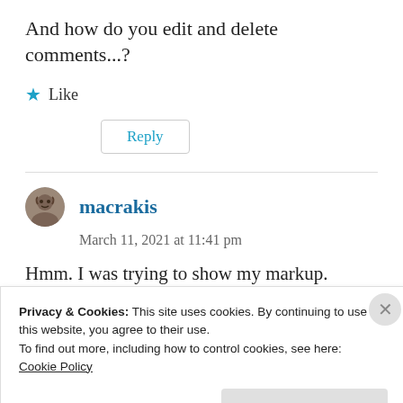And how do you edit and delete comments...?
★ Like
Reply
macrakis
March 11, 2021 at 11:41 pm
Hmm. I was trying to show my markup.
Privacy & Cookies: This site uses cookies. By continuing to use this website, you agree to their use.
To find out more, including how to control cookies, see here:
Cookie Policy
Close and accept